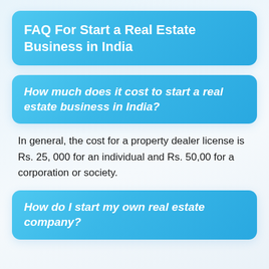FAQ For Start a Real Estate Business in India
How much does it cost to start a real estate business in India?
In general, the cost for a property dealer license is Rs. 25, 000 for an individual and Rs. 50,00 for a corporation or society.
How do I start my own real estate company?